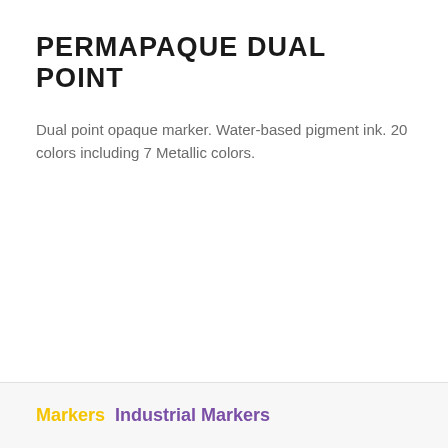PERMAPAQUE DUAL POINT
Dual point opaque marker. Water-based pigment ink. 20 colors including 7 Metallic colors.
Markers  Industrial Markers